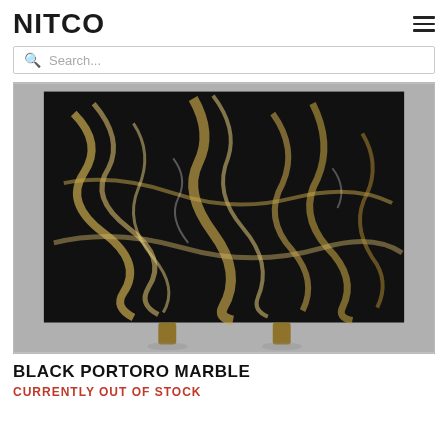NITCO
Search...
[Figure (photo): Black Portoro Marble slab with dramatic black background and flowing gold and white veining patterns, displayed on wooden supports against a grey background.]
BLACK PORTORO MARBLE
CURRENTLY OUT OF STOCK